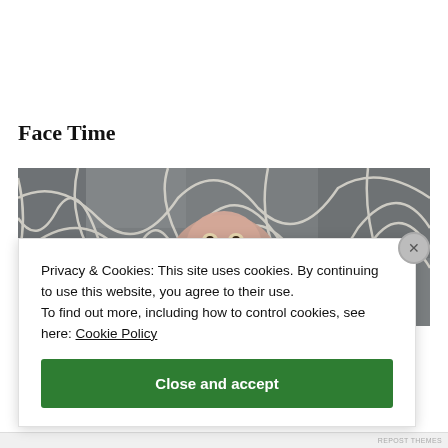Face Time
[Figure (photo): Close-up photo of a bird face (possibly a vulture or similar bird) surrounded by white tangled branches or antlers against a grey stone or bark background.]
Privacy & Cookies: This site uses cookies. By continuing to use this website, you agree to their use.
To find out more, including how to control cookies, see here: Cookie Policy
Close and accept